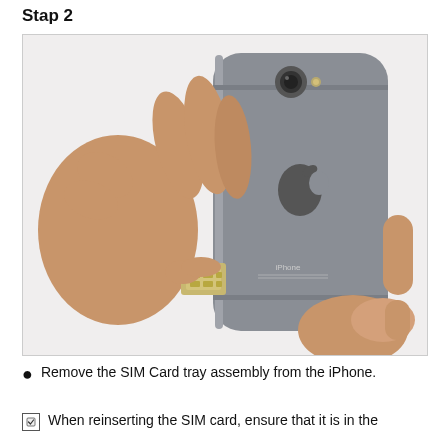Stap 2
[Figure (photo): A hand holding a SIM card tray next to the back of an iPhone (space gray), showing the SIM card tray being removed from the iPhone.]
Remove the SIM Card tray assembly from the iPhone.
When reinserting the SIM card, ensure that it is in the